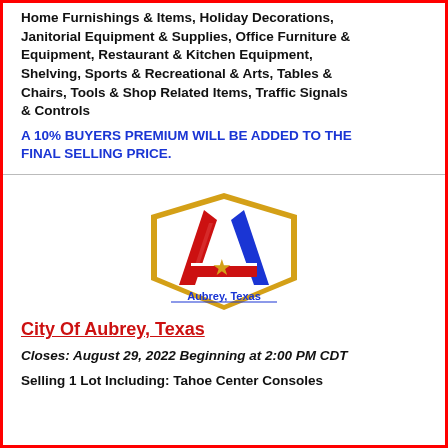Home Furnishings & Items, Holiday Decorations, Janitorial Equipment & Supplies, Office Furniture & Equipment, Restaurant & Kitchen Equipment, Shelving, Sports & Recreational & Arts, Tables & Chairs, Tools & Shop Related Items, Traffic Signals & Controls
A 10% BUYERS PREMIUM WILL BE ADDED TO THE FINAL SELLING PRICE.
[Figure (logo): City of Aubrey, Texas logo — a stylized letter A in red, white, and blue with a gold star in the center, enclosed in a gold-bordered shield shape, with 'Aubrey, Texas' text below underlined in blue.]
City Of Aubrey, Texas
Closes: August 29, 2022 Beginning at 2:00 PM CDT
Selling 1 Lot Including: Tahoe Center Consoles